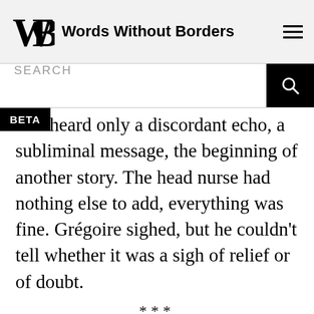Words Without Borders
oire heard only a discordant echo, a subliminal message, the beginning of another story. The head nurse had nothing else to add, everything was fine. Grégoire sighed, but he couldn't tell whether it was a sigh of relief or of doubt.
***
The months went by. One October day, the media spoke of a few confirmed cases of cholera in the Artibonite River Valley, the river that runs through it and nourishes the fields and rice...